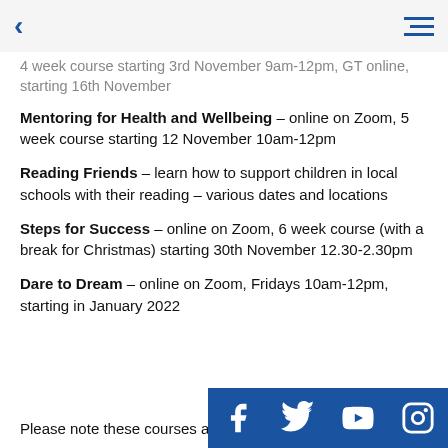< (back) ≡ (menu)
4 week course starting 3rd November 9am-12pm, GT online, starting 16th November
Mentoring for Health and Wellbeing – online on Zoom, 5 week course starting 12 November 10am-12pm
Reading Friends – learn how to support children in local schools with their reading – various dates and locations
Steps for Success – online on Zoom, 6 week course (with a break for Christmas) starting 30th November 12.30-2.30pm
Dare to Dream – online on Zoom, Fridays 10am-12pm, starting in January 2022
Please note these courses are
[Figure (infographic): Social media icons row: Facebook, Twitter, YouTube, Instagram on blue background]